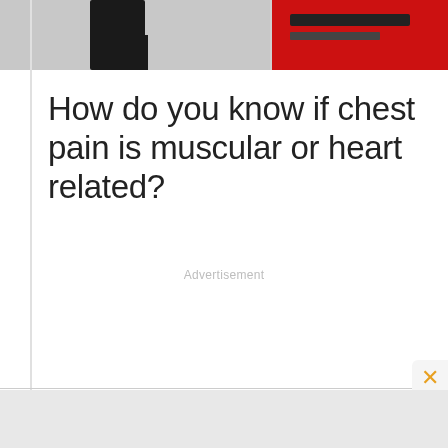[Figure (photo): Top portion of a webpage showing a partial image of a person in dark clothing on a light background (left) and a red background panel (right), cropped to show only the lower body and a red advertisement panel.]
How do you know if chest pain is muscular or heart related?
Advertisement